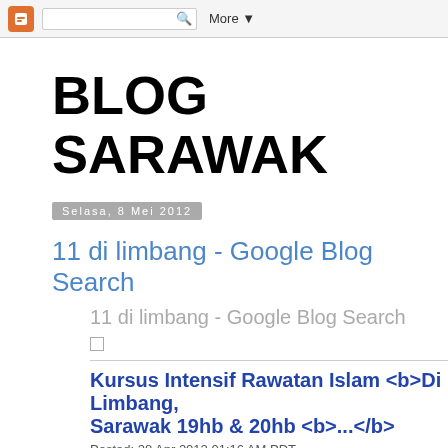Blogger navbar with logo, search box, More
BLOG SARAWAK
Selasa, 8 Mei 2012
11 di limbang - Google Blog Search
11 di limbang - Google Blog Search
Kursus Intensif Rawatan Islam <b>Di Limbang, Sarawak 19hb & 20hb <b>...</b>
Posted: 28 Apr 2012 01:16 AM PDT
Bismillahirrahmanirrahim, segala puji